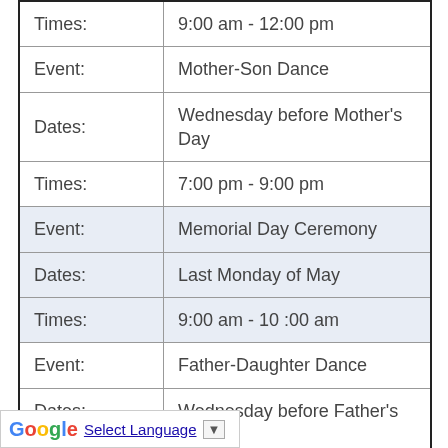| Times: | 9:00 am - 12:00 pm |
| Event: | Mother-Son Dance |
| Dates: | Wednesday before Mother's Day |
| Times: | 7:00 pm - 9:00 pm |
| Event: | Memorial Day Ceremony |
| Dates: | Last Monday of May |
| Times: | 9:00 am - 10 :00 am |
| Event: | Father-Daughter Dance |
| Dates: | Wednesday before Father's Day (June) |
| Times: | 7:00 pm - 9:00 pm |
| Event: | Longwood Luau |
| Dates: | Second Saturday in June |
| Times: | ...am - 3:00 pm |